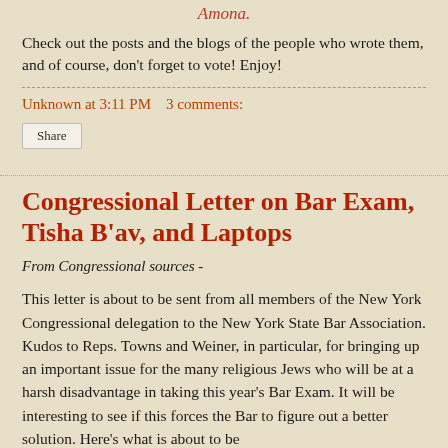Amona.
Check out the posts and the blogs of the people who wrote them, and of course, don't forget to vote! Enjoy!
Unknown at 3:11 PM    3 comments:
Share
Congressional Letter on Bar Exam, Tisha B'av, and Laptops
From Congressional sources -
This letter is about to be sent from all members of the New York Congressional delegation to the New York State Bar Association. Kudos to Reps. Towns and Weiner, in particular, for bringing up an important issue for the many religious Jews who will be at a harsh disadvantage in taking this year's Bar Exam. It will be interesting to see if this forces the Bar to figure out a better solution. Here's what is about to be